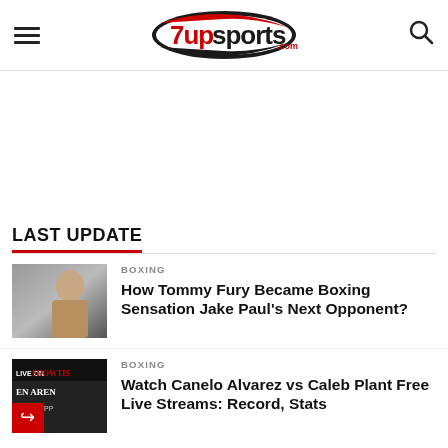7upsports.com
[Figure (other): Advertisement / blank ad space]
LAST UPDATE
[Figure (photo): Tommy Fury shirtless boxing photo]
BOXING
How Tommy Fury Became Boxing Sensation Jake Paul's Next Opponent?
[Figure (photo): Canelo Alvarez vs Caleb Plant Live on Showtime Arena promotional image with share icon]
BOXING
Watch Canelo Alvarez vs Caleb Plant Free Live Streams: Record, Stats